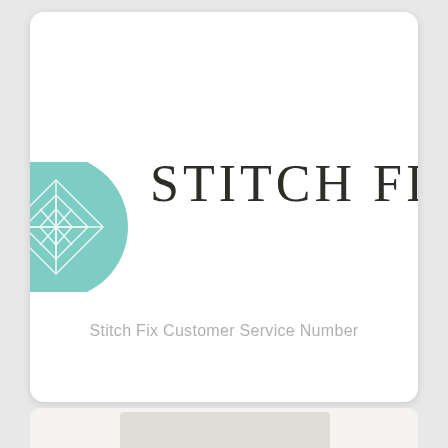[Figure (logo): Stitch Fix logo: teal circle with white diamond/cross geometric pattern on the left, and the text 'STITCH FIX' in large serif dark letters on the right. The logo is partially cropped on the right edge.]
Stitch Fix Customer Service Number